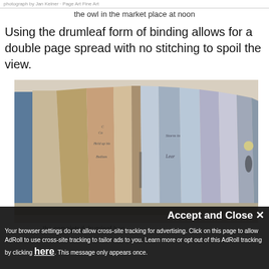photograph by Jan Kelner · Page Art Fine Art
the owl in the market place at noon
Using the drumleaf form of binding allows for a double page spread with no stitching to spoil the view.
[Figure (photo): A drumleaf bound book photographed from above showing multiple pages fanned open, with illustrated/painted pages visible including scenes with text such as 'Storm in' and 'Lear' and 'Hold up his' and 'Bedlam']
the completed drumleaf boo...
Accept and Close ✕
Your browser settings do not allow cross-site tracking for advertising. Click on this page to allow AdRoll to use cross-site tracking to tailor ads to you. Learn more or opt out of this AdRoll tracking by clicking here. This message only appears once.